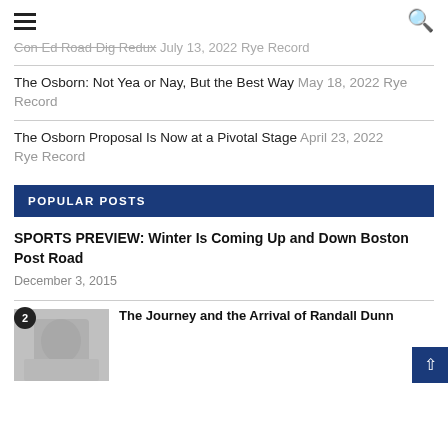[hamburger menu] [search icon]
Con Ed Road Dig Redux July 13, 2022 Rye Record
The Osborn: Not Yea or Nay, But the Best Way May 18, 2022 Rye Record
The Osborn Proposal Is Now at a Pivotal Stage April 23, 2022 Rye Record
POPULAR POSTS
SPORTS PREVIEW: Winter Is Coming Up and Down Boston Post Road
December 3, 2015
2 The Journey and the Arrival of Randall Dunn